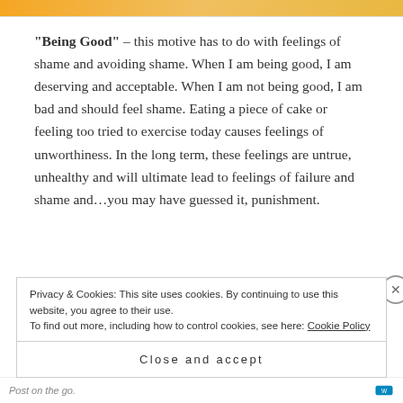[Figure (photo): Top image strip showing partial orange/yellow image]
“Being Good” – this motive has to do with feelings of shame and avoiding shame.  When I am being good, I am deserving and acceptable.  When I am not being good, I am bad and should feel shame.  Eating a piece of cake or feeling too tried to exercise today causes feelings of unworthiness.  In the long term, these feelings are untrue, unhealthy and will ultimate lead to feelings of failure and shame and…you may have guessed it, punishment.
Privacy & Cookies: This site uses cookies. By continuing to use this website, you agree to their use.
To find out more, including how to control cookies, see here: Cookie Policy
Close and accept
Post on the go.